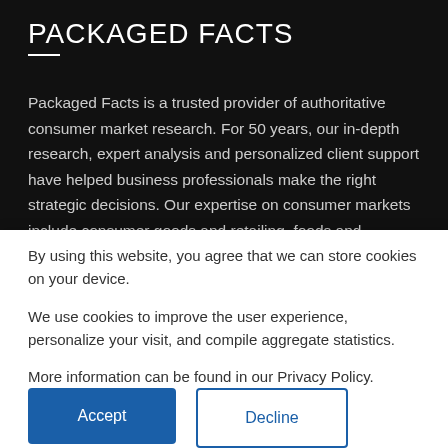PACKAGED FACTS
Packaged Facts is a trusted provider of authoritative consumer market research. For 50 years, our in-depth research, expert analysis and personalized client support have helped business professionals make the right strategic decisions. Our expertise on consumer markets include consumer goods and retailing, foods and beverages, demographics, pet products and services, and financial products. Packaged Facts also offers
By using this website, you agree that we can store cookies on your device.

We use cookies to improve the user experience, personalize your visit, and compile aggregate statistics.

More information can be found in our Privacy Policy.
Accept
Decline